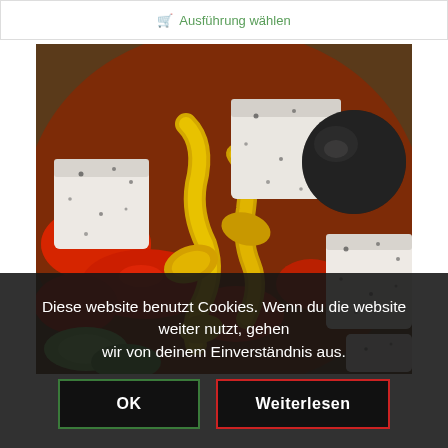Ausführung wählen
[Figure (photo): Close-up photo of a Greek salad with white feta cheese cubes, red tomatoes, yellow pepperoncini peppers, black olives, and cucumber slices]
Diese website benutzt Cookies. Wenn du die website weiter nutzt, gehen wir von deinem Einverständnis aus.
OK
Weiterlesen